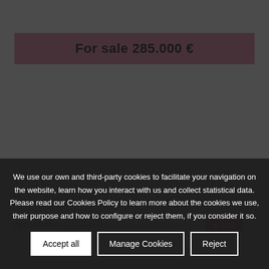For sale 285.000 €
House - Palma de Mallorca (Son Oliva) · Built Surface 93m² · 19...
QUESTION?
We use our own and third-party cookies to facilitate your navigation on the website, learn how you interact with us and collect statistical data. Please read our Cookies Policy to learn more about the cookies we use, their purpose and how to configure or reject them, if you consider it so.
Accept all
Manage Cookies
Reject